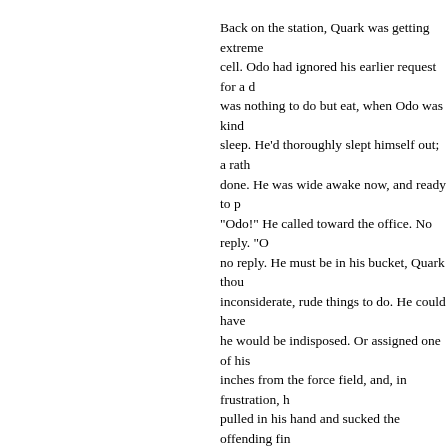Back on the station, Quark was getting extremely bored in his cell. Odo had ignored his earlier request for a data pad. There was nothing to do but eat, when Odo was kind enough, and sleep. He'd thoroughly slept himself out; a rather dangerous thing done. He was wide awake now, and ready to pace a hole in the floor. "Odo!" He called toward the office. No reply. "Odo!" Again, no reply. He must be in his bucket, Quark thought. One of the inconsiderate, rude things to do. He could have at least warned him he would be indisposed. Or assigned one of his deputies. Quark inches from the force field, and, in frustration, held out a hand, pulled in his hand and sucked the offending finger. "Just great already!" He whined half-heartedly. He promised himself he'd never do anything that would get him incarcerated. He knew it wasn't jail, but he felt thoroughly punished. Dejected, he curled up on the bench, and sat hugging his knees, and nursing his sore finger. Some time later, Rom came in again. He seemed quite cheerful and Quark was immediately suspicious. "Well, Rom?" He said, approaching, but not quite as closely, the force field as before. "I'm turning a nice profit, Brother." "Did you see Gant?" Rom hesitated, wondering just what would come out at the right time. "No, not yet." He said. Quark was impatient. Didn't Rom know he'd waited? "On the station? Have you heard anything?" He prompted.